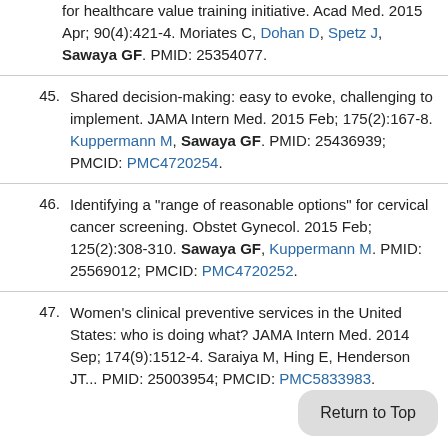for healthcare value training initiative. Acad Med. 2015 Apr; 90(4):421-4. Moriates C, Dohan D, Spetz J, Sawaya GF. PMID: 25354077.
45. Shared decision-making: easy to evoke, challenging to implement. JAMA Intern Med. 2015 Feb; 175(2):167-8. Kuppermann M, Sawaya GF. PMID: 25436939; PMCID: PMC4720254.
46. Identifying a "range of reasonable options" for cervical cancer screening. Obstet Gynecol. 2015 Feb; 125(2):308-310. Sawaya GF, Kuppermann M. PMID: 25569012; PMCID: PMC4720252.
47. Women's clinical preventive services in the United States: who is doing what? JAMA Intern Med. 2014 Sep; 174(9):1512-4. Saraiya M, Hing E, Henderson JT... PMID: 25003954; PMCID: PMC5833983.